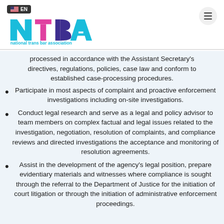[Figure (logo): National Trans Bar Association logo with EN language badge and hamburger menu button]
processed in accordance with the Assistant Secretary's directives, regulations, policies, case law and conform to established case-processing procedures.
Participate in most aspects of complaint and proactive enforcement investigations including on-site investigations.
Conduct legal research and serve as a legal and policy advisor to team members on complex factual and legal issues related to the investigation, negotiation, resolution of complaints, and compliance reviews and directed investigations the acceptance and monitoring of resolution agreements.
Assist in the development of the agency's legal position, prepare evidentiary materials and witnesses where compliance is sought through the referral to the Department of Justice for the initiation of court litigation or through the initiation of administrative enforcement proceedings.